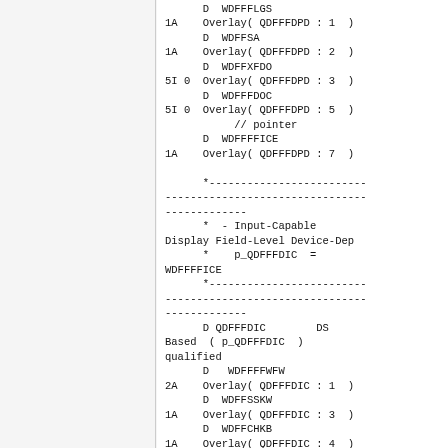D  WDFFFLGS
1A    Overlay( QDFFFDPD : 1  )
      D  WDFFSA
1A    Overlay( QDFFFDPD : 2  )
      D  WDFFXFDO
5I 0  Overlay( QDFFFDPD : 3  )
      D  WDFFFDOC
5I 0  Overlay( QDFFFDPD : 5  )
           // pointer
      D  WDFFFFICE
1A    Overlay( QDFFFDPD : 7  )

      *--------------------------------------------------
      *  - Input-Capable Display Field-Level Device-Dep
      *    p_QDFFFDIC  =
WDFFFFICE
      *--------------------------------------------------
      D QDFFFDIC        DS
Based  ( p_QDFFFDIC  )
qualified
      D   WDFFFFWFW
2A    Overlay( QDFFFDIC : 1  )
      D  WDFFSSKW
1A    Overlay( QDFFFDIC : 3  )
      D  WDFFCHKB
1A    Overlay( QDFFFDIC : 4  )